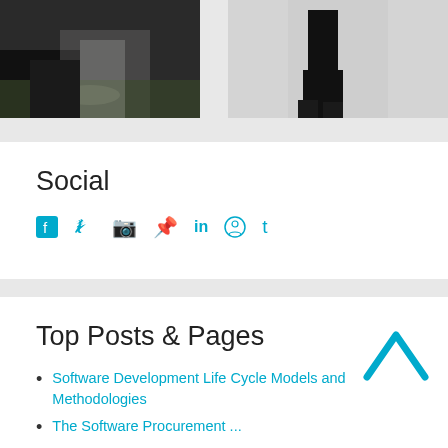[Figure (photo): Two photos side by side: left shows a couple at a wedding, right shows a person in a dark suit from waist down]
Social
[Figure (infographic): Social media icons: Facebook, Twitter, Instagram, Pinterest, LinkedIn, GitHub, Tumblr in cyan/teal color]
Top Posts & Pages
Software Development Life Cycle Models and Methodologies
The Software Procurement ... (partial)